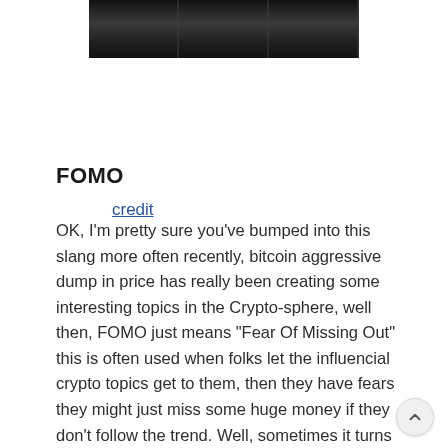[Figure (photo): Dark wooden background image strip at the top of the page]
credit
FOMO
OK, I'm pretty sure you've bumped into this slang more often recently, bitcoin aggressive dump in price has really been creating some interesting topics in the Crypto-sphere, well then, FOMO just means "Fear Of Missing Out" this is often used when folks let the influencial crypto topics get to them, then they have fears they might just miss some huge money if they don't follow the trend. Well, sometimes it turns out such and sometimes it doesn't, but never let the FOMO get you jumping onto ashes, be independent about your financial